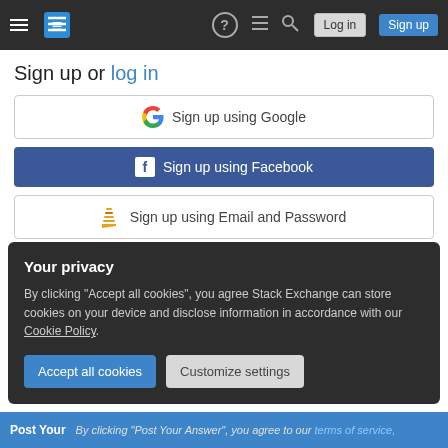Stack Exchange navigation bar with hamburger menu, logo, help, chat, search, Log in and Sign up buttons
Sign up or log in
Sign up using Google
Sign up using Facebook
Sign up using Email and Password
Post as a guest
Name
Your privacy
By clicking "Accept all cookies", you agree Stack Exchange can store cookies on your device and disclose information in accordance with our Cookie Policy.
Accept all cookies
Customize settings
Post Your | By clicking "Post Your Answer", you agree to our terms of service,